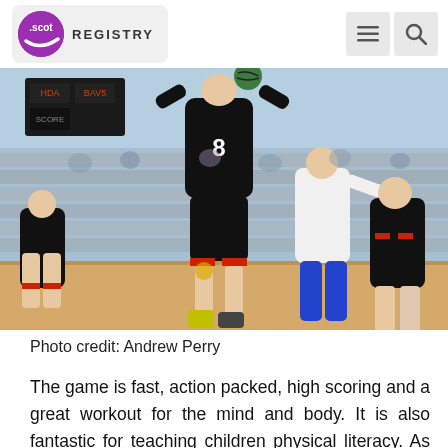.scot REGISTRY
[Figure (photo): Handball match action photo: player in black jersey number 8 jumping to shoot, surrounded by teammates and opponents in an indoor sports arena with spectators in the background.]
Photo credit: Andrew Perry
The game is fast, action packed, high scoring and a great workout for the mind and body. It is also fantastic for teaching children physical literacy. As catching, running, throwing, and jumping are the essence of the game, it is perfect for teaching